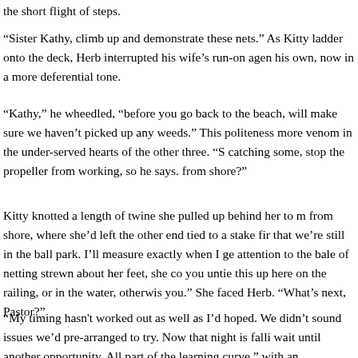the short flight of steps.
“Sister Kathy, climb up and demonstrate these nets.” As Kitty ladder onto the deck, Herb interrupted his wife’s run-on agen his own, now in a more deferential tone.
“Kathy,” he wheedled, “before you go back to the beach, will make sure we haven’t picked up any weeds.” This politeness more venom in the under-served hearts of the other three. “S catching some, stop the propeller from working, so he says. from shore?”
Kitty knotted a length of twine she pulled up behind her to m from shore, where she’d left the other end tied to a stake fir that we’re still in the ball park. I’ll measure exactly when I ge attention to the bale of netting strewn about her feet, she co you untie this up here on the railing, or in the water, otherwis you.” She faced Herb. “What’s next, Pastor?”
“My timing hasn’t worked out as well as I’d hoped. We didn’t sound issues we’d pre-arranged to try. Now that night is falli wait until another opportunity. All part of the learning curve.” with an unconvincing snigger. His family was glaring, closing seemed to rise, standing head and shoulders above them,